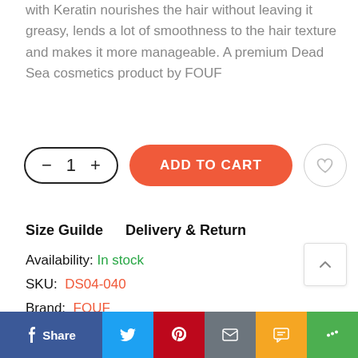with Keratin nourishes the hair without leaving it greasy, lends a lot of smoothness to the hair texture and makes it more manageable. A premium Dead Sea cosmetics product by FOUF
- 1 +  ADD TO CART
Size Guilde   Delivery & Return
Availability: In stock
SKU:  DS04-040
Brand:  FOUF
Share (Facebook, Twitter, Pinterest, Email, SMS, More)